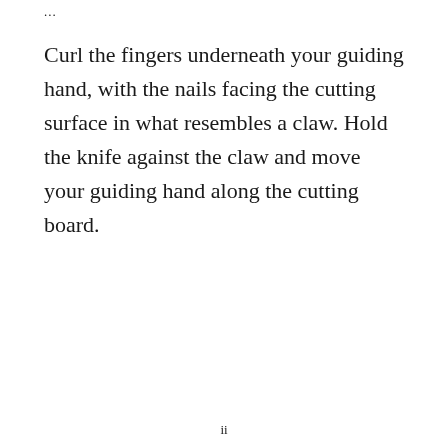...
Curl the fingers underneath your guiding hand, with the nails facing the cutting surface in what resembles a claw. Hold the knife against the claw and move your guiding hand along the cutting board.
ii